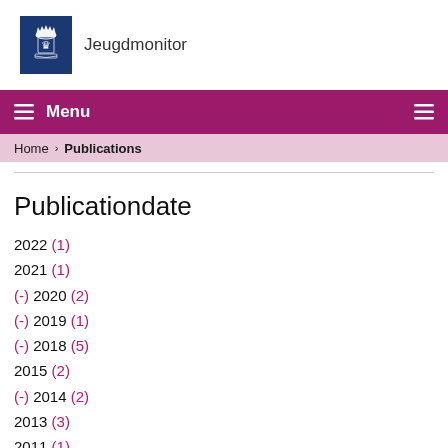[Figure (logo): Jeugdmonitor logo with Dutch royal coat of arms on dark blue background and text 'Jeugdmonitor' to the right]
☰ Menu
Home › Publications
Publicationdate
2022 (1)
2021 (1)
(-) 2020 (2)
(-) 2019 (1)
(-) 2018 (5)
2015 (2)
(-) 2014 (2)
2013 (3)
2011 (1)
2009 (2)